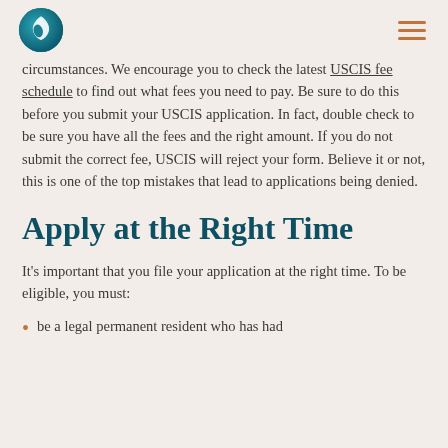[Logo] [Hamburger menu]
circumstances. We encourage you to check the latest USCIS fee schedule to find out what fees you need to pay. Be sure to do this before you submit your USCIS application. In fact, double check to be sure you have all the fees and the right amount. If you do not submit the correct fee, USCIS will reject your form. Believe it or not, this is one of the top mistakes that lead to applications being denied.
Apply at the Right Time
It's important that you file your application at the right time. To be eligible, you must:
be a legal permanent resident who has had